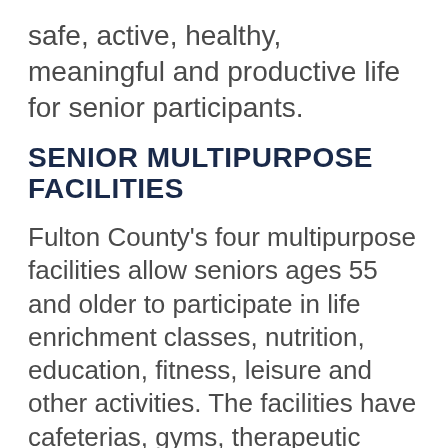safe, active, healthy, meaningful and productive life for senior participants.
SENIOR MULTIPURPOSE FACILITIES
Fulton County's four multipurpose facilities allow seniors ages 55 and older to participate in life enrichment classes, nutrition, education, fitness, leisure and other activities. The facilities have cafeterias, gyms, therapeutic pools, computer training centers and art classrooms. There is no cost for Fulton County residents, but non-residents pay a $100 annual fee.